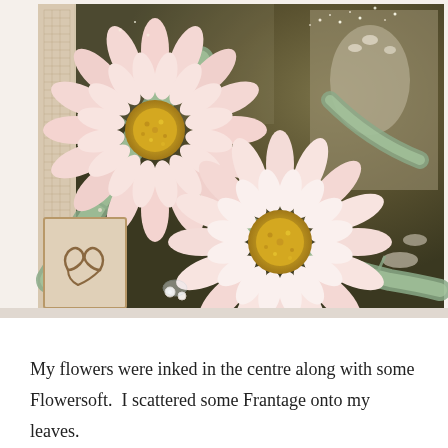[Figure (photo): Close-up photo of a handmade scrapbook or mixed media craft piece featuring two large pink and white daisy-like flowers with golden yellow centres, sage green glitter-dusted decorative leaves, a vintage-style wooden frame element on the left with grid pattern paper, a decorative scroll/flourish chipboard piece at bottom left, small pearl embellishments, and a faded vintage photograph of a figure in the background on the right. The arrangement includes scattered glitter and Frantage texture.]
My flowers were inked in the centre along with some Flowersoft.  I scattered some Frantage onto my leaves.